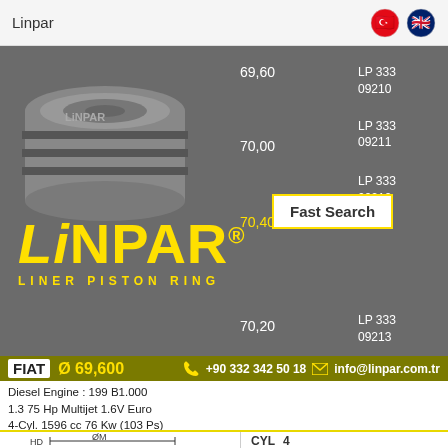Linpar
[Figure (screenshot): Linpar catalog screenshot showing piston image, LINPAR logo, LINER PISTON RING subtitle, catalog part numbers LP 333 09210, LP 333 09211, LP 333 09212, LP 333 09213 with diameters 69.60, 70.00, 70.40, 70.20, and a Fast Search button]
FIAT Ø 69,600
+90 332 342 50 18   info@linpar.com.tr
Diesel Engine : 199 B1.000
1.3 75 Hp Multijet 1.6V Euro
4-Cyl. 1596 cc 76 Kw (103 Ps)
Brava 1.6 16v, Bravo 1.6 16v, Doblo 1.6 16v, Marea 1.6 16v, Palio 1.6 16v, Stilo 1.6 16v
[Figure (engineering-diagram): Technical cross-section diagram of piston ring showing HD and ØM dimensions]
CYL  4